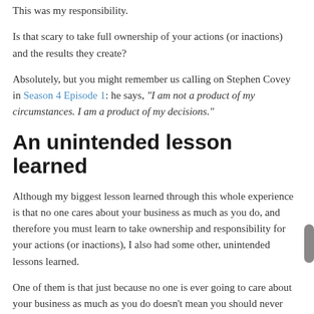This was my responsibility.
Is that scary to take full ownership of your actions (or inactions) and the results they create?
Absolutely, but you might remember us calling on Stephen Covey in Season 4 Episode 1: he says, "I am not a product of my circumstances. I am a product of my decisions."
An unintended lesson learned
Although my biggest lesson learned through this whole experience is that no one cares about your business as much as you do, and therefore you must learn to take ownership and responsibility for your actions (or inactions), I also had some other, unintended lessons learned.
One of them is that just because no one is ever going to care about your business as much as you do doesn't mean you should never hire a team.